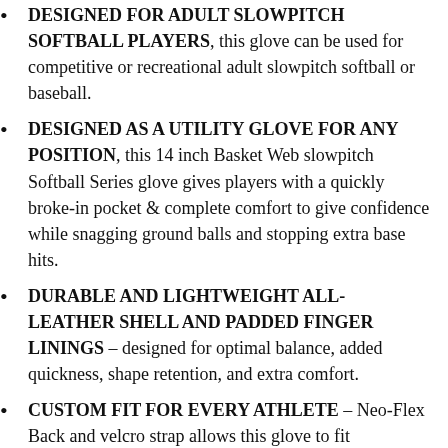DESIGNED FOR ADULT SLOWPITCH SOFTBALL PLAYERS, this glove can be used for competitive or recreational adult slowpitch softball or baseball.
DESIGNED AS A UTILITY GLOVE FOR ANY POSITION, this 14 inch Basket Web slowpitch Softball Series glove gives players with a quickly broke-in pocket & complete comfort to give confidence while snagging ground balls and stopping extra base hits.
DURABLE AND LIGHTWEIGHT ALL-LEATHER SHELL AND PADDED FINGER LININGS – designed for optimal balance, added quickness, shape retention, and extra comfort.
CUSTOM FIT FOR EVERY ATHLETE – Neo-Flex Back and velcro strap allows this glove to fit comfortably on any men's slowpitch or women's slowpitch softball player.